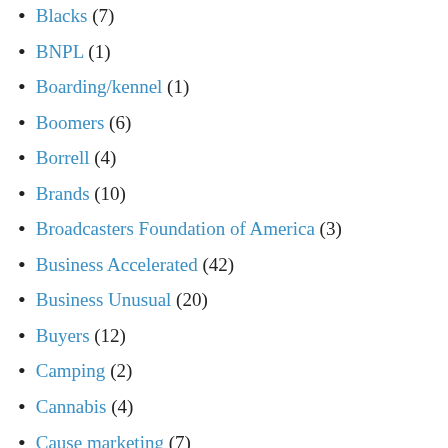Blacks (7)
BNPL (1)
Boarding/kennel (1)
Boomers (6)
Borrell (4)
Brands (10)
Broadcasters Foundation of America (3)
Business Accelerated (42)
Business Unusual (20)
Buyers (12)
Camping (2)
Cannabis (4)
Cause marketing (7)
CBD (1)
CES (5)
Children (6)
Clothing (15)